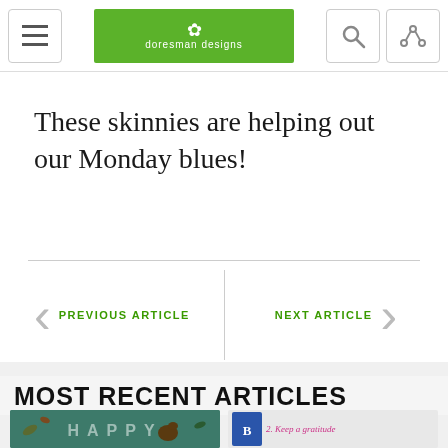doresman designs
These skinnies are helping out our Monday blues!
PREVIOUS ARTICLE
NEXT ARTICLE
MOST RECENT ARTICLES
[Figure (photo): Green decorative card with 'HAPPY' text and a duck illustration]
[Figure (photo): Blue book icon with text '2. Keep a gratitude']